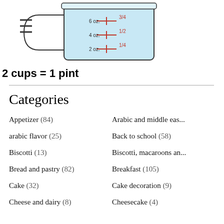[Figure (illustration): Illustration of a measuring cup with measurement markings: 6 oz = 3/4, 4 oz = 1/2, 2 oz = 1/4, shown with a hamburger menu icon to the left]
2 cups = 1 pint
Categories
Appetizer (84)
Arabic and middle eas...
arabic flavor (25)
Back to school (58)
Biscotti (13)
Biscotti, macaroons an...
Bread and pastry (82)
Breakfast (105)
Cake (32)
Cake decoration (9)
Cheese and dairy (8)
Cheesecake (4)